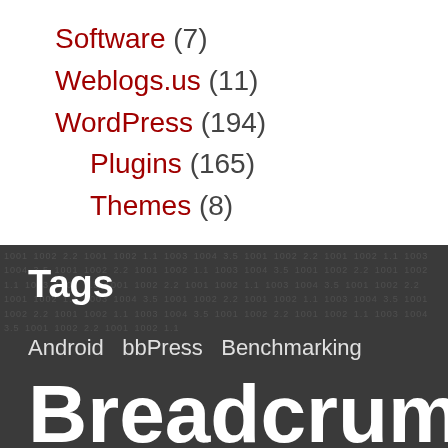Software (7)
Weblogs.us (11)
WordPress (194)
Plugins (165)
Themes (8)
Tags
Android  bbPress  Benchmarking
Breadcrumb
NavXT  Bugs  Code